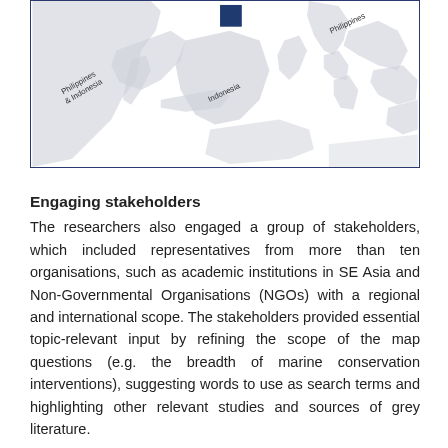[Figure (map): Partial map of Southeast Asia showing regions labeled Philippines & Indonesia (left), Indonesia (center), and Philippines (right). A dark blue square marker is visible near Indonesia/Philippines area. Map shows land outlines in light grey.]
Engaging stakeholders
The researchers also engaged a group of stakeholders, which included representatives from more than ten organisations, such as academic institutions in SE Asia and Non-Governmental Organisations (NGOs) with a regional and international scope. The stakeholders provided essential topic-relevant input by refining the scope of the map questions (e.g. the breadth of marine conservation interventions), suggesting words to use as search terms and highlighting other relevant studies and sources of grey literature.
Findings
As well as identifying knowledge clusters and knowledge gaps, the map shows that many quantitative studies did not